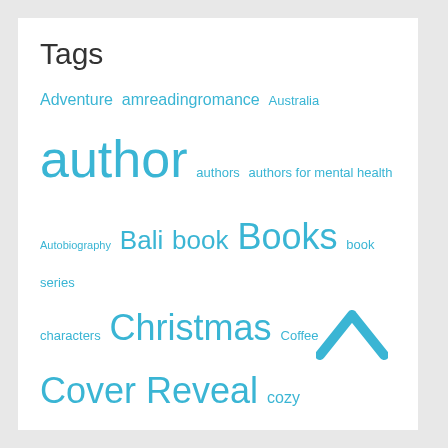Tags
Adventure amreadingromance Australia author authors authors for mental health Autobiography Bali book Books book series characters Christmas Coffee Cover Reveal cozy mystery debut novel digital nomad editing family Fiction friends Friendship Greece Hawaii Hiking home Humour inspiration Las Vegas Life London Long-term travel Los Angeles love Maui meme Mental Health Minnesota moving mystery New year New Zealand nomad novel novels Oregon Paris Peru Publication Day publishing readers reading